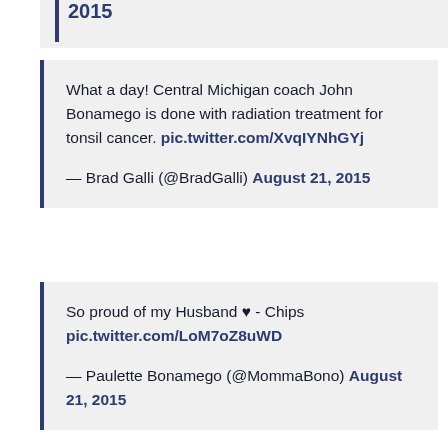2015
What a day! Central Michigan coach John Bonamego is done with radiation treatment for tonsil cancer. pic.twitter.com/XvqIYNhGYj

— Brad Galli (@BradGalli) August 21, 2015
So proud of my Husband ♥ - Chips pic.twitter.com/LoM7oZ8uWD

— Paulette Bonamego (@MommaBono) August 21, 2015